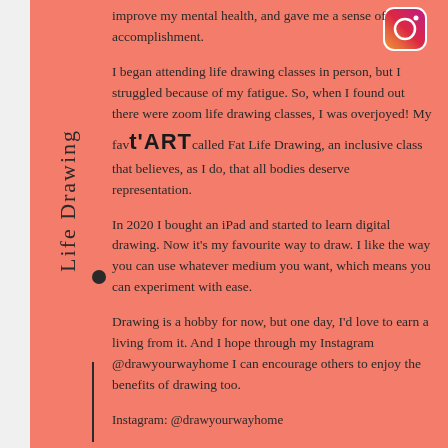improve my mental health, and gave me a sense of accomplishment.
Life Drawing
I began attending life drawing classes in person, but I struggled because of my fatigue. So, when I found out there were zoom life drawing classes, I was overjoyed! My favourite is called Fat Life Drawing, an inclusive class that believes, as I do, that all bodies deserve representation.
In 2020 I bought an iPad and started to learn digital drawing. Now it's my favourite way to draw. I like the way you can use whatever medium you want, which means you can experiment with ease.
Drawing is a hobby for now, but one day, I'd love to earn a living from it. And I hope through my Instagram @drawyourwayhome I can encourage others to enjoy the benefits of drawing too.
Instagram: @drawyourwayhome